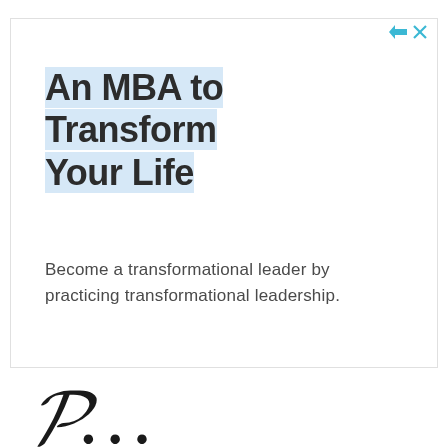An MBA to Transform Your Life
Become a transformational leader by practicing transformational leadership.
Wright Grad University
Open